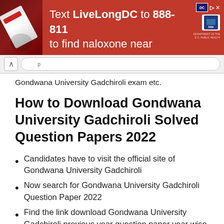[Figure (infographic): Red advertisement banner: 'Text LiveLongDC to 888-811 to find naloxone near you.' with DC and DBH logos on the right, and a hand holding a syringe on the left.]
Gondwana University Gadchiroli exam etc.
How to Download Gondwana University Gadchiroli Solved Question Papers 2022
Candidates have to visit the official site of Gondwana University Gadchiroli
Now search for Gondwana University Gadchiroli Question Paper 2022
Find the link download Gondwana University Gadchiroli previous year question paper year wise